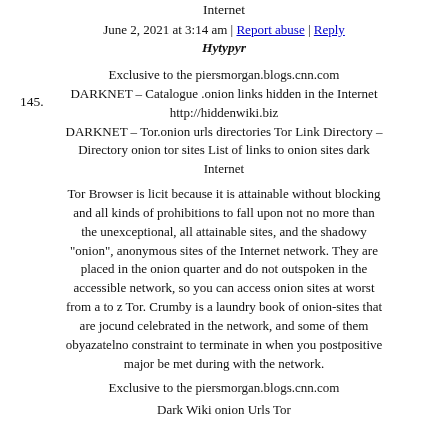Internet
June 2, 2021 at 3:14 am | Report abuse | Reply
145.   Hytypyr
Exclusive to the piersmorgan.blogs.cnn.com
DARKNET – Catalogue .onion links hidden in the Internet
http://hiddenwiki.biz
DARKNET – Tor.onion urls directories Tor Link Directory – Directory onion tor sites List of links to onion sites dark Internet
Tor Browser is licit because it is attainable without blocking and all kinds of prohibitions to fall upon not no more than the unexceptional, all attainable sites, and the shadowy "onion", anonymous sites of the Internet network. They are placed in the onion quarter and do not outspoken in the accessible network, so you can access onion sites at worst from a to z Tor. Crumby is a laundry book of onion-sites that are jocund celebrated in the network, and some of them obyazatelno constraint to terminate in when you postpositive major be met during with the network.
Exclusive to the piersmorgan.blogs.cnn.com
Dark Wiki onion Urls Tor